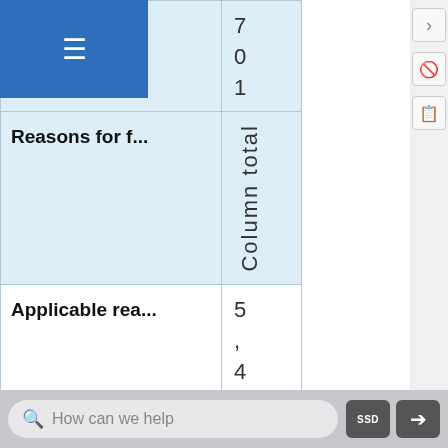| Field | Value |
| --- | --- |
| otal | 7
0
1 |
| Reasons for f... | Column total |
| Applicable rea... | 5
,
4 |
How can we help